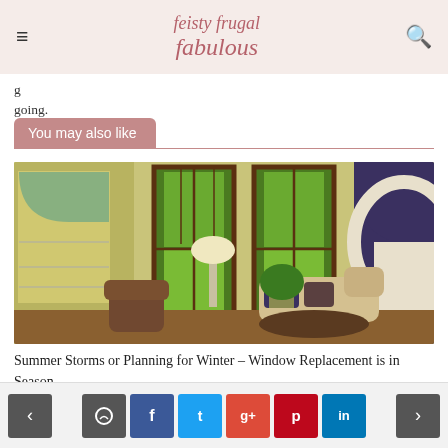feisty frugal fabulous
going.
You may also like
[Figure (photo): Interior room photo showing large dark-framed double-hung windows with a view of green trees outside, a chaise lounge with pillows, a plant, built-in bookshelves on the left, and an arched doorway on the right.]
Summer Storms or Planning for Winter – Window Replacement is in Season
< [comment] [f] [t] [g+] [p] [in] >